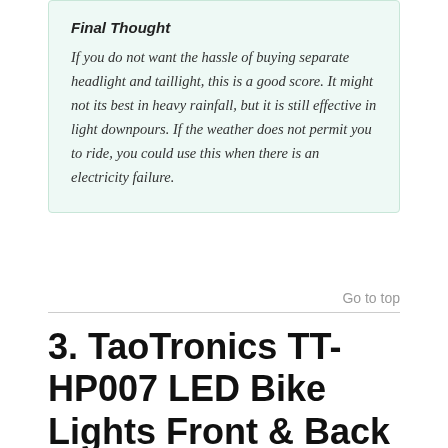Final Thought
If you do not want the hassle of buying separate headlight and taillight, this is a good score. It might not its best in heavy rainfall, but it is still effective in light downpours. If the weather does not permit you to ride, you could use this when there is an electricity failure.
Go to top
3. TaoTronics TT-HP007 LED Bike Lights Front & Back for Bicycle HeadLights